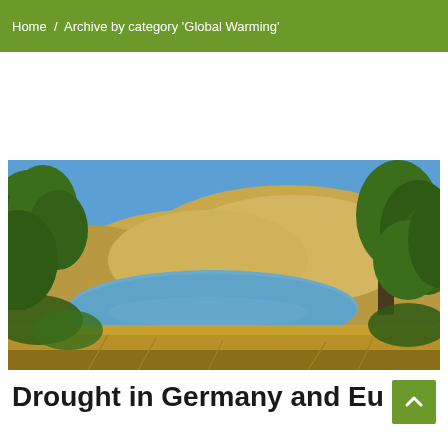Home / Archive by category 'Global Warming'
[Figure (photo): Drought landscape photo showing a lake or reservoir surrounded by dry golden-brown hills and oak trees under a clear blue sky, indicative of drought conditions.]
Drought in Germany and Eu...